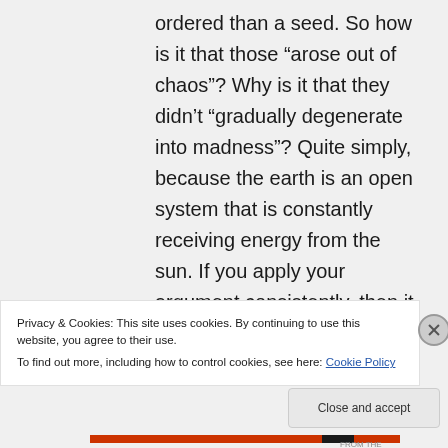ordered than a seed. So how is it that those “arose out of chaos”? Why is it that they didn’t “gradually degenerate into madness”? Quite simply, because the earth is an open system that is constantly receiving energy from the sun. If you apply your argument consistently, then it must also be
Privacy & Cookies: This site uses cookies. By continuing to use this website, you agree to their use.
To find out more, including how to control cookies, see here: Cookie Policy
Close and accept